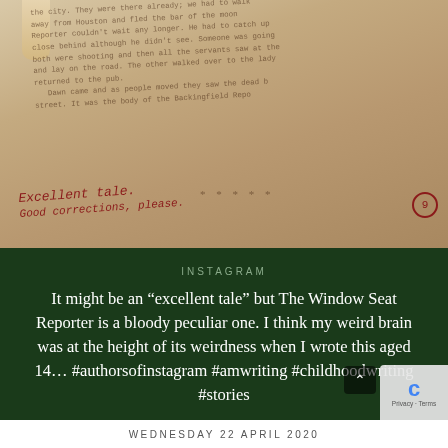[Figure (photo): Close-up photo of a handwritten story on paper with red ink teacher comments. Visible text mentions 'The Window Seat Reporter'. Handwritten annotations in red ink read 'Excellent tale.' and 'Good corrections please.' with a circled number 9. Stars are drawn near the bottom of the text.]
INSTAGRAM
It might be an “excellent tale” but The Window Seat Reporter is a bloody peculiar one. I think my weird brain was at the height of its weirdness when I wrote this aged 14… #authorsofinstagram #amwriting #childhoodwriting #stories
WEDNESDAY 22 APRIL 2020